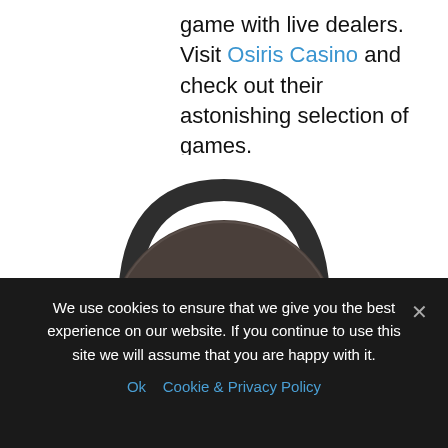game with live dealers. Visit Osiris Casino and check out their astonishing selection of games.
[Figure (logo): Osiris Casino logo displayed on a headphones illustration. Dark circular headphone ear cup with gold Osiris Casino logo in center, showing stylized helmet icon and OSIRIS text.]
We use cookies to ensure that we give you the best experience on our website. If you continue to use this site we will assume that you are happy with it.
Ok   Cookie & Privacy Policy